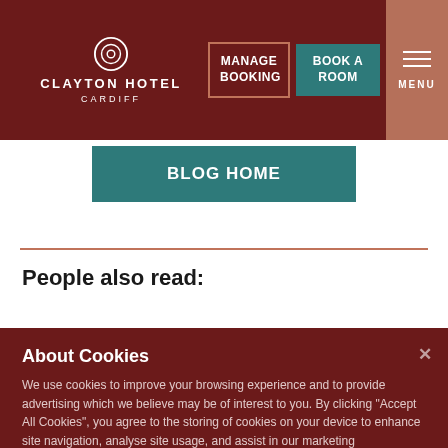CLAYTON HOTEL CARDIFF — MANAGE BOOKING | BOOK A ROOM | MENU
BLOG HOME
People also read:
About Cookies
We use cookies to improve your browsing experience and to provide advertising which we believe may be of interest to you. By clicking "Accept All Cookies", you agree to the storing of cookies on your device to enhance site navigation, analyse site usage, and assist in our marketing efforts. Cookie Policy
Cookies Settings | Accept All Cookies